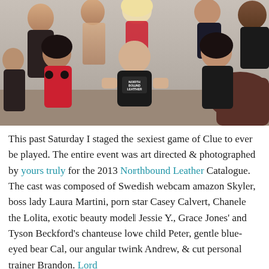[Figure (photo): Group photo of multiple people, including several women in lingerie and leather outfits, and a bald man in the center wearing a black t-shirt reading 'Northbound Leather', posing together indoors.]
This past Saturday I staged the sexiest game of Clue to ever be played. The entire event was art directed & photographed by yours truly for the 2013 Northbound Leather Catalogue. The cast was composed of Swedish webcam amazon Skyler, boss lady Laura Martini, porn star Casey Calvert, Chanele the Lolita, exotic beauty model Jessie Y., Grace Jones' and Tyson Beckford's chanteuse love child Peter, gentle blue-eyed bear Cal, our angular twink Andrew, & cut personal trainer Brandon. Lord